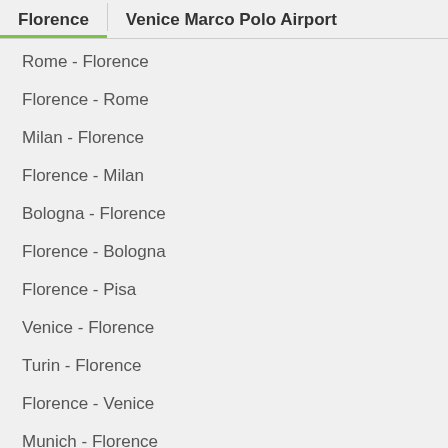Florence | Venice Marco Polo Airport
Rome - Florence
Florence - Rome
Milan - Florence
Florence - Milan
Bologna - Florence
Florence - Bologna
Florence - Pisa
Venice - Florence
Turin - Florence
Florence - Venice
Munich - Florence
Florence - Munich
Pisa - Florence